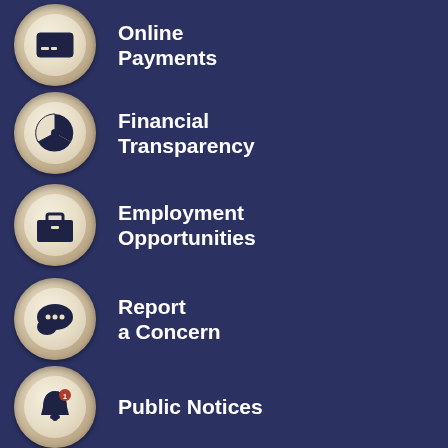Online Payments
Financial Transparency
Employment Opportunities
Report a Concern
Public Notices